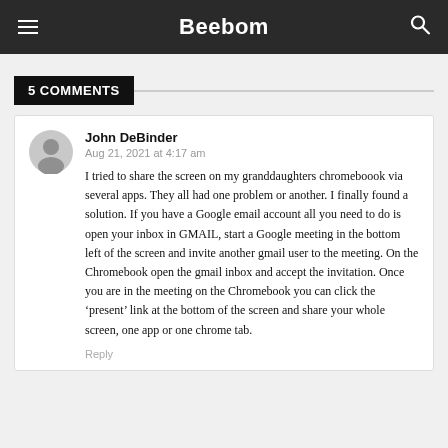Beebom
5 COMMENTS
John DeBinder
Aug 21, 2021 at 4:17 am
I tried to share the screen on my granddaughters chromeboook via several apps. They all had one problem or another. I finally found a solution. If you have a Google email account all you need to do is open your inbox in GMAIL, start a Google meeting in the bottom left of the screen and invite another gmail user to the meeting. On the Chromebook open the gmail inbox and accept the invitation. Once you are in the meeting on the Chromebook you can click the ‘present’ link at the bottom of the screen and share your whole screen, one app or one chrome tab.
Reply